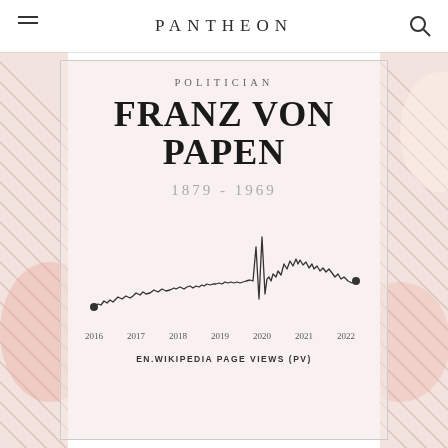PANTHEON
POLITICIAN
FRANZ VON PAPEN
1879 - 1969
[Figure (continuous-plot): Line chart of EN.Wikipedia page views (PV) for Franz von Papen from 2016 to 2022. The line starts low around 2016 (marked with a dot), stays relatively flat with small fluctuations through 2016-2019, then shows a dramatic spike around 2020, followed by elevated and volatile readings through 2021-2022, ending with a dot marker around 2022.]
EN.WIKIPEDIA PAGE VIEWS (PV)